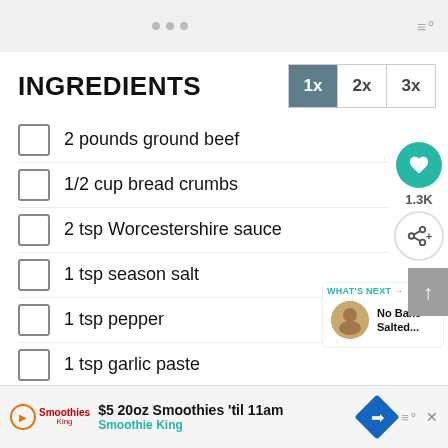• • •  ≡°
INGREDIENTS  1x  2x  3x
2 pounds ground beef
1/2 cup bread crumbs
2 tsp Worcestershire sauce
1 tsp season salt
1 tsp pepper
1 tsp garlic paste
1 tsp chili powder
1/2 tsp onion powder
2 eggs
1/2 cup shredded mozzarella cheese
$5 20oz Smoothies 'til 11am  Smoothie King